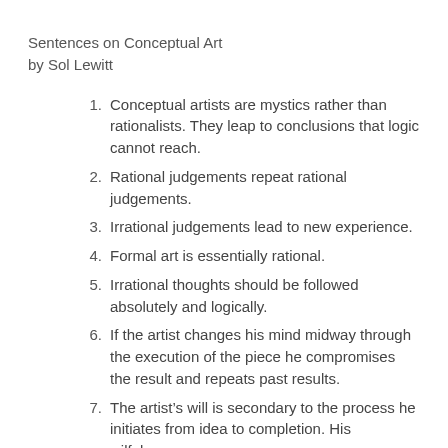Sentences on Conceptual Art
by Sol Lewitt
1. Conceptual artists are mystics rather than rationalists. They leap to conclusions that logic cannot reach.
2. Rational judgements repeat rational judgements.
3. Irrational judgements lead to new experience.
4. Formal art is essentially rational.
5. Irrational thoughts should be followed absolutely and logically.
6. If the artist changes his mind midway through the execution of the piece he compromises the result and repeats past results.
7. The artist’s will is secondary to the process he initiates from idea to completion. His wilfulness may